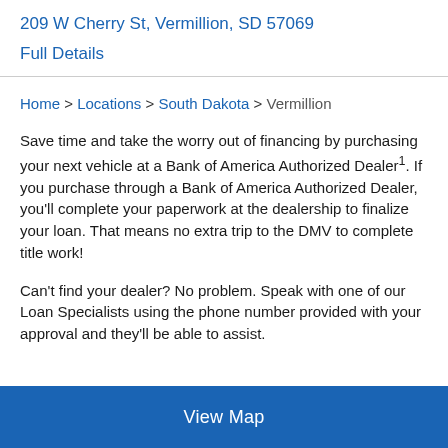209 W Cherry St, Vermillion, SD 57069
Full Details
Home > Locations > South Dakota > Vermillion
Save time and take the worry out of financing by purchasing your next vehicle at a Bank of America Authorized Dealer¹. If you purchase through a Bank of America Authorized Dealer, you'll complete your paperwork at the dealership to finalize your loan. That means no extra trip to the DMV to complete title work!
Can’t find your dealer? No problem. Speak with one of our Loan Specialists using the phone number provided with your approval and they’ll be able to assist.
View Map